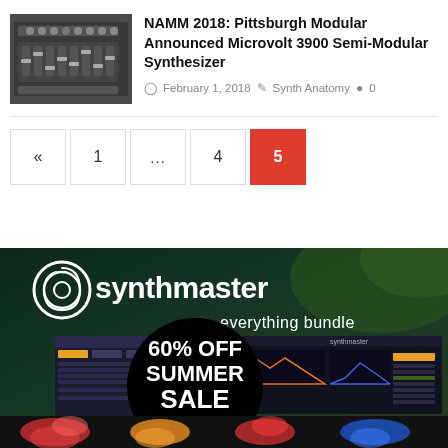[Figure (photo): Thumbnail image of a synthesizer hardware device]
NAMM 2018: Pittsburgh Modular Announced Microvolt 3900 Semi-Modular Synthesizer
February 1, 2018   Synth Anatomy   0
« 1 ... 4 5 (pagination)
[Figure (advertisement): Synthmaster everything bundle advertisement showing 60% OFF SUMMER SALE until Sept 4]